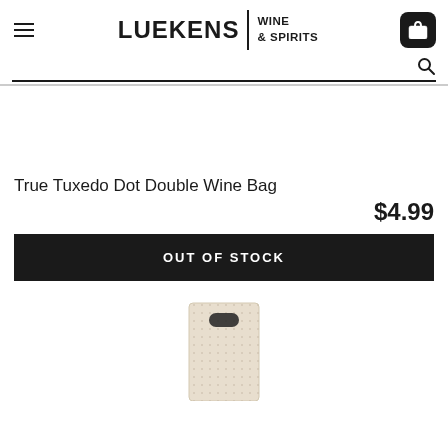[Figure (logo): Luekens Wine & Spirits logo with hamburger menu icon and shopping cart icon in header]
True Tuxedo Dot Double Wine Bag
$4.99
OUT OF STOCK
[Figure (photo): Bottom portion of a cream/beige dotted wine bag with a dark handle cutout]